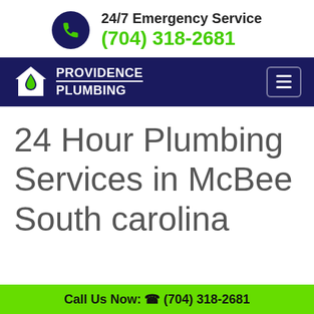24/7 Emergency Service (704) 318-2681
[Figure (logo): Providence Plumbing logo with house and water drop icon on dark navy navigation bar]
24 Hour Plumbing Services in McBee South carolina
Call Us Now: (704) 318-2681